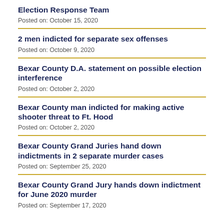Election Response Team
Posted on: October 15, 2020
2 men indicted for separate sex offenses
Posted on: October 9, 2020
Bexar County D.A. statement on possible election interference
Posted on: October 2, 2020
Bexar County man indicted for making active shooter threat to Ft. Hood
Posted on: October 2, 2020
Bexar County Grand Juries hand down indictments in 2 separate murder cases
Posted on: September 25, 2020
Bexar County Grand Jury hands down indictment for June 2020 murder
Posted on: September 17, 2020